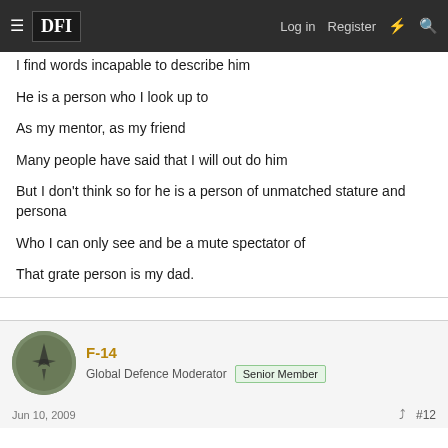DFI — Log in   Register
I find words incapable to describe him

He is a person who I look up to

As my mentor, as my friend

Many people have said that I will out do him

But I don't think so for he is a person of unmatched stature and persona

Who I can only see and be a mute spectator of

That grate person is my dad.
F-14
Global Defence Moderator   Senior Member
Jun 10, 2009   #12